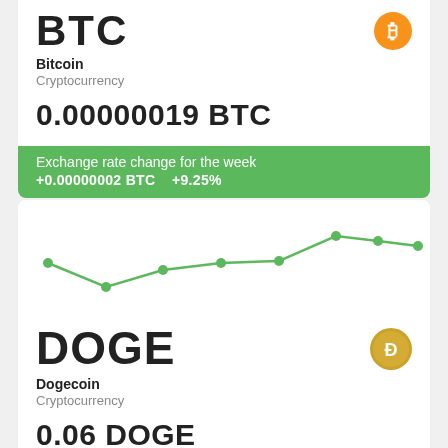BTC
Bitcoin
Cryptocurrency
0.00000019 BTC
Exchange rate change for the week
+0.00000002 BTC   +9.25%
[Figure (line-chart): DOGE weekly price chart]
DOGE
Dogecoin
Cryptocurrency
0.06 DOGE
Exchange rate change for the week
+0.0050 DOGE   +8.51%